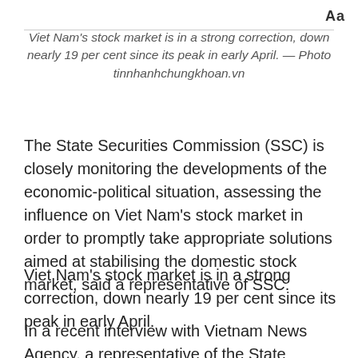Aa
Viet Nam's stock market is in a strong correction, down nearly 19 per cent since its peak in early April. — Photo tinnhanhchungkhoan.vn
The State Securities Commission (SSC) is closely monitoring the developments of the economic-political situation, assessing the influence on Viet Nam's stock market in order to promptly take appropriate solutions aimed at stabilising the domestic stock market, said a representative of SSC.
Viet Nam's stock market is in a strong correction, down nearly 19 per cent since its peak in early April.
In a recent interview with Vietnam News Agency, a representative of the State Securities Commission...